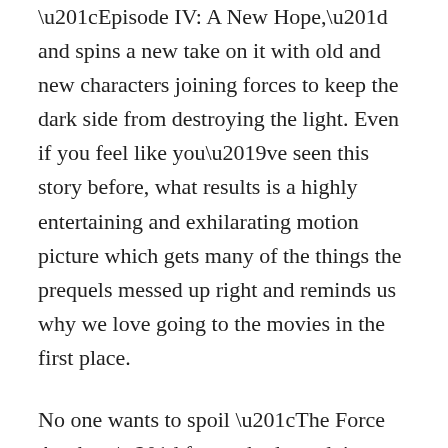“Episode IV: A New Hope,” and spins a new take on it with old and new characters joining forces to keep the dark side from destroying the light. Even if you feel like you’ve seen this story before, what results is a highly entertaining and exhilarating motion picture which gets many of the things the prequels messed up right and reminds us why we love going to the movies in the first place.
No one wants to spoil “The Force Awakens” for anybody as doing so would be like Homer Simpson ruining the big reveal of “The Empire Strikes Back” for those waiting in line to see it, so don’t expect this reviewer make this mistake as everyone should come to this